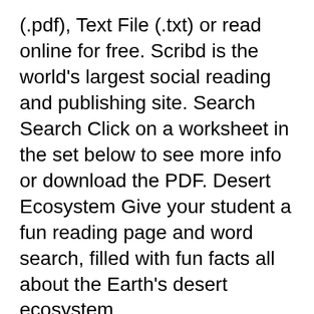(.pdf), Text File (.txt) or read online for free. Scribd is the world's largest social reading and publishing site. Search Search Click on a worksheet in the set below to see more info or download the PDF. Desert Ecosystem Give your student a fun reading page and word search, filled with fun facts all about the Earth's desert ecosystem.
3 slightly differentiated worksheets which use 2 views from Jeannie Baker's 'Window'. Children have to identify physical and human features and explain how and why the view changes over time. slow changes in the standard characteristics of an ecosystem, which cause the standards to be adjusted